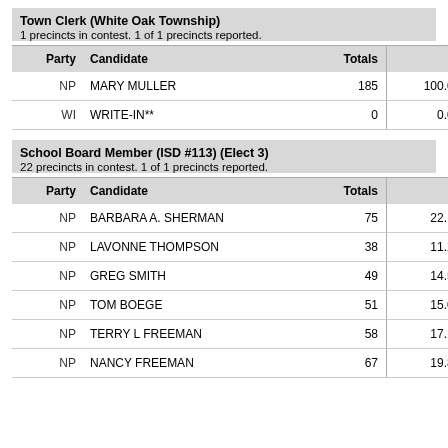Town Clerk (White Oak Township)
1 precincts in contest. 1 of 1 precincts reported.
| Party | Candidate | Totals | Pct |
| --- | --- | --- | --- |
| NP | MARY MULLER | 185 | 100.00% |
| WI | WRITE-IN** | 0 | 0.00% |
School Board Member (ISD #113) (Elect 3)
22 precincts in contest. 1 of 1 precincts reported.
| Party | Candidate | Totals | Pct |
| --- | --- | --- | --- |
| NP | BARBARA A. SHERMAN | 75 | 22.19% |
| NP | LAVONNE THOMPSON | 38 | 11.24% |
| NP | GREG SMITH | 49 | 14.50% |
| NP | TOM BOEGE | 51 | 15.09% |
| NP | TERRY L FREEMAN | 58 | 17.16% |
| NP | NANCY FREEMAN | 67 | 19.82% |